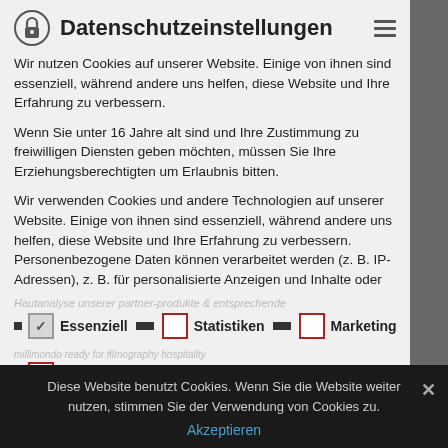Datenschutzeinstellungen
Wir nutzen Cookies auf unserer Website. Einige von ihnen sind essenziell, während andere uns helfen, diese Website und Ihre Erfahrung zu verbessern.
Wenn Sie unter 16 Jahre alt sind und Ihre Zustimmung zu freiwilligen Diensten geben möchten, müssen Sie Ihre Erziehungsberechtigten um Erlaubnis bitten.
Wir verwenden Cookies und andere Technologien auf unserer Website. Einige von ihnen sind essenziell, während andere uns helfen, diese Website und Ihre Erfahrung zu verbessern. Personenbezogene Daten können verarbeitet werden (z. B. IP-Adressen), z. B. für personalisierte Anzeigen und Inhalte oder
Essenziell
Statistiken
Marketing
Externe Medien
Diese Website benutzt Cookies. Wenn Sie die Website weiter nutzen, stimmen Sie der Verwendung von Cookies zu.
Akzeptieren